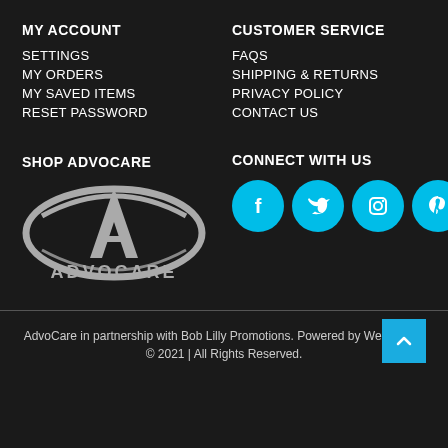MY ACCOUNT
SETTINGS
MY ORDERS
MY SAVED ITEMS
RESET PASSWORD
CUSTOMER SERVICE
FAQS
SHIPPING & RETURNS
PRIVACY POLICY
CONTACT US
SHOP ADVOCARE
[Figure (logo): AdvoCare logo — stylized A with oval swoosh and ADVOCARE text below, in grey]
CONNECT WITH US
[Figure (infographic): Four cyan circular social media icons: Facebook, Twitter, Instagram, Pinterest]
AdvoCare in partnership with Bob Lilly Promotions. Powered by Webjaguar.
© 2021 | All Rights Reserved.